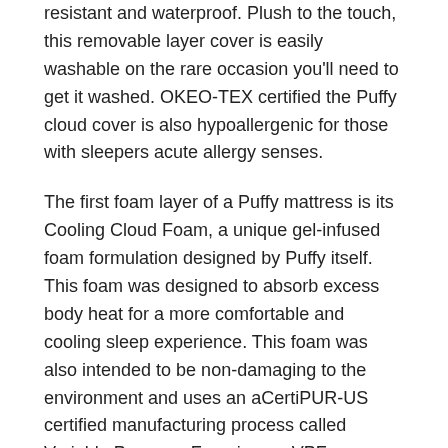resistant and waterproof. Plush to the touch, this removable layer cover is easily washable on the rare occasion you'll need to get it washed. OKEO-TEX certified the Puffy cloud cover is also hypoallergenic for those with sleepers acute allergy senses.
The first foam layer of a Puffy mattress is its Cooling Cloud Foam, a unique gel-infused foam formulation designed by Puffy itself. This foam was designed to absorb excess body heat for a more comfortable and cooling sleep experience. This foam was also intended to be non-damaging to the environment and uses an aCertiPUR-US certified manufacturing process called Variable Pressure Foaming, or VPF.
The Puffy Lux's Body-Adapting Dual Cloud foam is exclusive to them. This VPF-manufactured foam is meant to adapt around your specific body shape and sleeping position to help alleviate any tension around variable pressure points in your body. Dual Cloud foam provides pressure relief and support without compromising